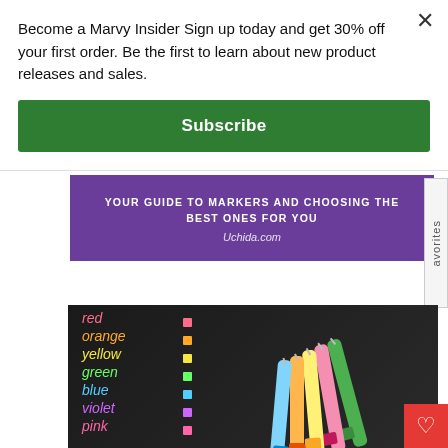Become a Marvy Insider Sign up today and get 30% off your first order. Be the first to learn about new product releases and sales.
Subscribe
[Figure (infographic): Purple banner reading 'YOUR GUIDE TO MARKERS AND CHOOSING THE BEST ONES FOR YOU' with 'Uchida.com' below]
[Figure (photo): Photo of colorful gel pens/markers on a black background with color names written in script: red, orange, yellow, green, blue, violet, pink]